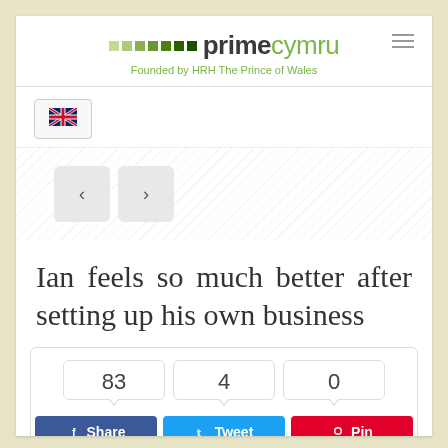[Figure (logo): primecymru logo with coloured squares and text 'Founded by HRH The Prince of Wales']
[Figure (illustration): UK flag (Union Jack) button]
[Figure (other): Navigation previous and next arrow buttons]
Ian feels so much better after setting up his own business
83 | 4 | 0 — Share, Tweet, Pin social sharing buttons